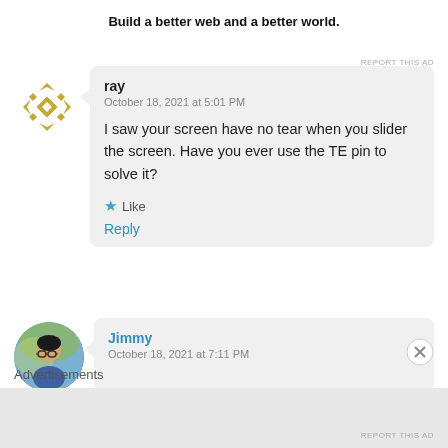Build a better web and a better world.
REPORT THIS AD
ray
October 18, 2021 at 5:01 PM

I saw your screen have no tear when you slider the screen. Have you ever use the TE pin to solve it?

★ Like

Reply
Jimmy
October 18, 2021 at 7:11 PM
Advertisements
REPORT THIS AD